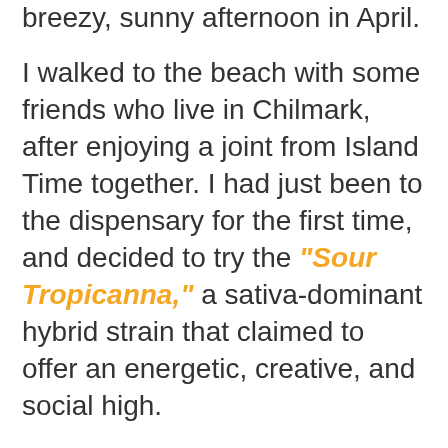breezy, sunny afternoon in April.
I walked to the beach with some friends who live in Chilmark, after enjoying a joint from Island Time together. I had just been to the dispensary for the first time, and decided to try the "Sour Tropicanna," a sativa-dominant hybrid strain that claimed to offer an energetic, creative, and social high.
The first thing I noticed when I got to the Lucy Vincent parking lot was the "Squib Shack" a small painted shelter adorned with colorful flags, nautical ropes, and labeled with a sign reading...